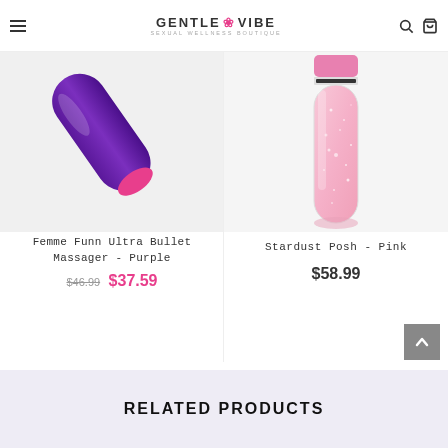GENTLE VIBE - SEXUAL WELLNESS BOUTIQUE
[Figure (photo): Purple handheld massager device (Femme Funn Ultra Bullet Massager in Purple), shown partially cropped from top]
Femme Funn Ultra Bullet Massager - Purple
$46.99 $37.59
[Figure (photo): Pink glitter-filled tube/bottle product (Stardust Posh - Pink), standing upright with pink cap on white background]
Stardust Posh - Pink
$58.99
RELATED PRODUCTS